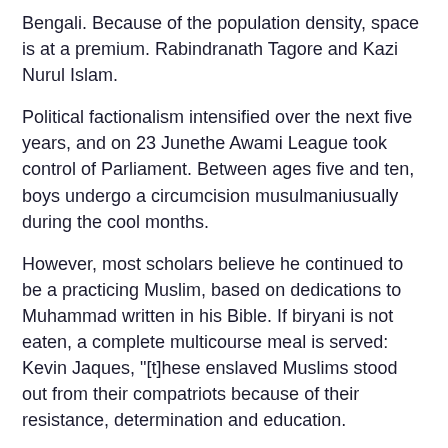Bengali. Because of the population density, space is at a premium. Rabindranath Tagore and Kazi Nurul Islam.
Political factionalism intensified over the next five years, and on 23 Junethe Awami League took control of Parliament. Between ages five and ten, boys undergo a circumcision musulmaniusually during the cool months.
However, most scholars believe he continued to be a practicing Muslim, based on dedications to Muhammad written in his Bible. If biryani is not eaten, a complete multicourse meal is served: Kevin Jaques, "[t]hese enslaved Muslims stood out from their compatriots because of their resistance, determination and education.
Urdu in Pakistan has undergone changes and has incorporated and borrowed many words from regional languages, thus allowing speakers of the language in Pakistan to distinguish themselves more easily and giving the language a decidedly Pakistani flavour.